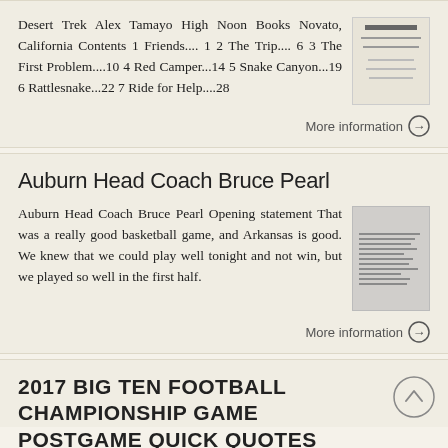Desert Trek Alex Tamayo High Noon Books Novato, California Contents 1 Friends.... 1 2 The Trip.... 6 3 The First Problem....10 4 Red Camper...14 5 Snake Canyon...19 6 Rattlesnake...22 7 Ride for Help....28
More information →
Auburn Head Coach Bruce Pearl
Auburn Head Coach Bruce Pearl Opening statement That was a really good basketball game, and Arkansas is good. We knew that we could play well tonight and not win, but we played so well in the first half.
More information →
2017 BIG TEN FOOTBALL CHAMPIONSHIP GAME POSTGAME QUICK QUOTES